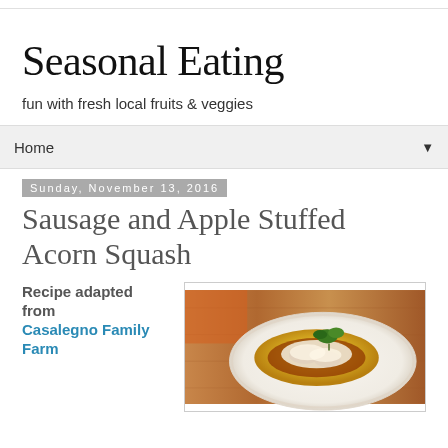Seasonal Eating
fun with fresh local fruits & veggies
Home
Sunday, November 13, 2016
Sausage and Apple Stuffed Acorn Squash
Recipe adapted from Casalegno Family Farm
[Figure (photo): Photo of a stuffed acorn squash on a white plate, topped with cheese and garnished with parsley, on a wooden surface]